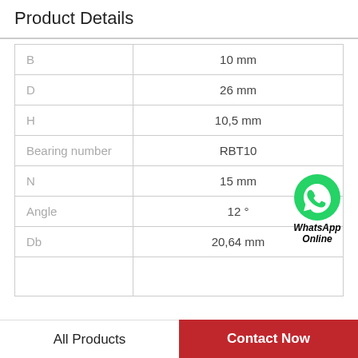Product Details
|  |  |
| --- | --- |
| B | 10 mm |
| D | 26 mm |
| H | 10,5 mm |
| Bearing number | RBT10 |
| N | 15 mm |
| Angle | 12 ° |
| Db | 20,64 mm |
|  |  |
[Figure (logo): WhatsApp Online logo with green phone icon and italic bold text 'WhatsApp Online']
All Products    Contact Now